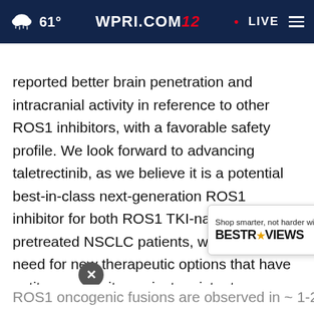61° WPRI.COM 12 • LIVE
reported better brain penetration and intracranial activity in reference to other ROS1 inhibitors, with a favorable safety profile. We look forward to advancing taletrectinib, as we believe it is a potential best-in-class next-generation ROS1 inhibitor for both ROS1 TKI-naïve and pretreated NSCLC patients, who are in need for new therapeutic options that have antitumor activity against resistant mutations and brain metastases."
[Figure (screenshot): BestReviews advertisement banner with text 'Shop smarter, not harder with BESTREVIEWS' and a blue 'Go Now' button]
ROS1 oncogenic fusions are observed in ~ 1-2%